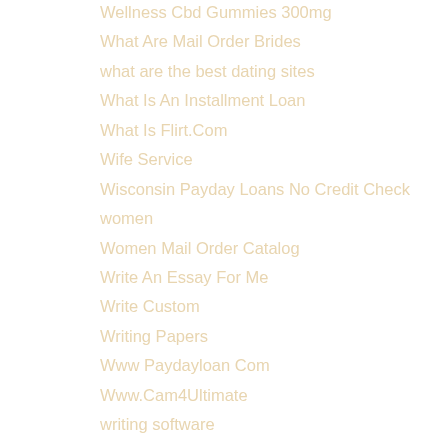Wellness Cbd Gummies 300mg
What Are Mail Order Brides
what are the best dating sites
What Is An Installment Loan
What Is Flirt.Com
Wife Service
Wisconsin Payday Loans No Credit Check
women
Women Mail Order Catalog
Write An Essay For Me
Write Custom
Writing Papers
Www Paydayloan Com
Www.Cam4Ultimate
writing software